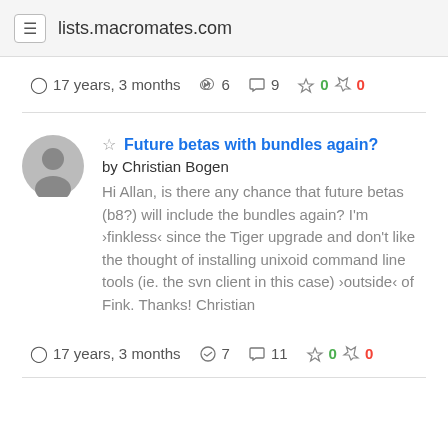lists.macromates.com
17 years, 3 months  6  9  0  0
Future betas with bundles again?
by Christian Bogen
Hi Allan, is there any chance that future betas (b8?) will include the bundles again? I'm ›finkless‹ since the Tiger upgrade and don't like the thought of installing unixoid command line tools (ie. the svn client in this case) ›outside‹ of Fink. Thanks! Christian
17 years, 3 months  7  11  0  0